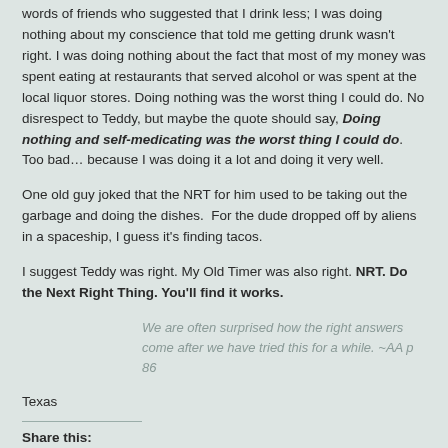words of friends who suggested that I drink less; I was doing nothing about my conscience that told me getting drunk wasn't right. I was doing nothing about the fact that most of my money was spent eating at restaurants that served alcohol or was spent at the local liquor stores. Doing nothing was the worst thing I could do. No disrespect to Teddy, but maybe the quote should say, Doing nothing and self-medicating was the worst thing I could do. Too bad… because I was doing it a lot and doing it very well.
One old guy joked that the NRT for him used to be taking out the garbage and doing the dishes.  For the dude dropped off by aliens in a spaceship, I guess it's finding tacos.
I suggest Teddy was right. My Old Timer was also right. NRT. Do the Next Right Thing. You'll find it works.
We are often surprised how the right answers come after we have tried this for a while. ~AA p 86
Texas
Share this: